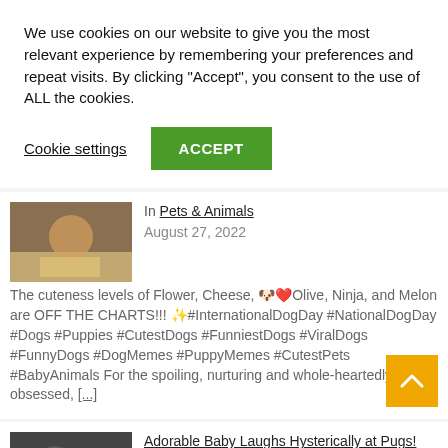We use cookies on our website to give you the most relevant experience by remembering your preferences and repeat visits. By clicking “Accept”, you consent to the use of ALL the cookies.
Cookie settings
ACCEPT
In Pets & Animals
August 27, 2022
The cuteness levels of Flower, Cheese, 🐶❤️Olive, Ninja, and Melon are OFF THE CHARTS!!! ✨#InternationalDogDay #NationalDogDay #Dogs #Puppies #CutestDogs #FunniestDogs #ViralDogs #FunnyDogs #DogMemes #PuppyMemes #CutestPets #BabyAnimals For the spoiling, nurturing and whole-heartedly pet-obsessed, [...]
Adorable Baby Laughs Hysterically at Pugs! #InternationalDogDay #Shorts